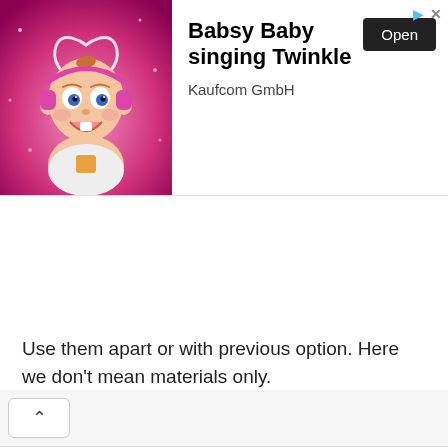[Figure (screenshot): Mobile advertisement banner for 'Babsy Baby singing Twinkle' app by Kaufcom GmbH. Shows a cartoon baby character on a pink sparkly background on the left, with bold app title text, developer name, and an 'Open' button on the right. Navigation/play and close icons visible in top-right corner.]
[Figure (screenshot): Browser toolbar area with a white back/up chevron button (^) on a light grey background.]
Use them apart or with previous option. Here we don't mean materials only.